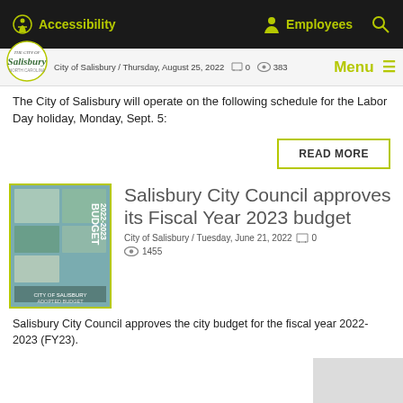Accessibility  Employees  [Search]
City of Salisbury / Thursday, August 25, 2022  0  383  Menu
The City of Salisbury will operate on the following schedule for the Labor Day holiday, Monday, Sept. 5:
READ MORE
[Figure (photo): Cover of the Salisbury Budget 2022-2023 document with city photos]
Salisbury City Council approves its Fiscal Year 2023 budget
City of Salisbury / Tuesday, June 21, 2022  0  1455
Salisbury City Council approves the city budget for the fiscal year 2022-2023 (FY23).